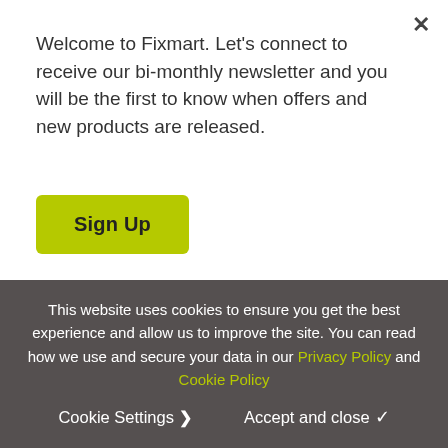[Figure (screenshot): Newsletter signup popup overlay for Fixmart website with close button (×) in top right, promotional text, and a yellow-green Sign Up button]
Welcome to Fixmart. Let's connect to receive our bi-monthly newsletter and you will be the first to know when offers and new products are released.
Sign Up
administrator is given or if an administrator is appointed over the Purchaser;
vii. (being a company) a floating charge holder over the Purchaser's assets has become entitled to appoint or has appointed an administrative receiver;
viii. a person becomes entitled to appoint a receiver
This website uses cookies to ensure you get the best experience and allow us to improve the site. You can read how we use and secure your data in our Privacy Policy and Cookie Policy
Cookie Settings ▶   Accept and close ✔